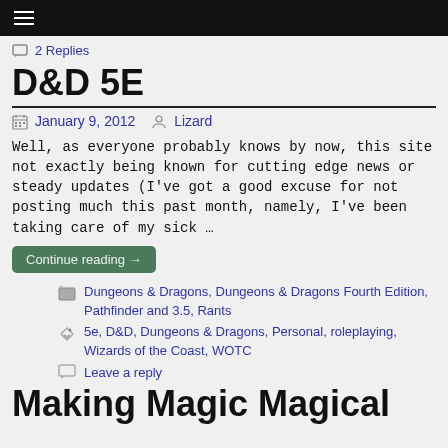≡
2 Replies
D&D 5E
January 9, 2012   Lizard
Well, as everyone probably knows by now, this site not exactly being known for cutting edge news or steady updates (I've got a good excuse for not posting much this past month, namely, I've been taking care of my sick …
Continue reading →
Dungeons & Dragons, Dungeons & Dragons Fourth Edition, Pathfinder and 3.5, Rants
5e, D&D, Dungeons & Dragons, Personal, roleplaying, Wizards of the Coast, WOTC
Leave a reply
Making Magic Magical